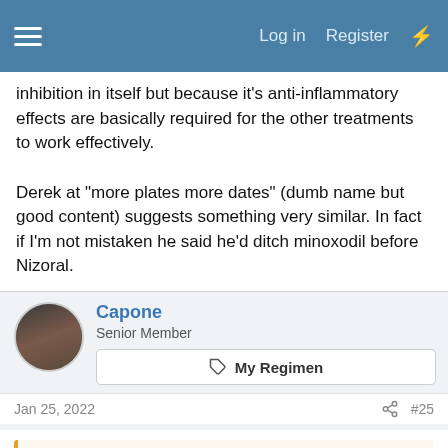Log in   Register
inhibition in itself but because it's anti-inflammatory effects are basically required for the other treatments to work effectively.
Derek at "more plates more dates" (dumb name but good content) suggests something very similar. In fact if I'm not mistaken he said he'd ditch minoxodil before Nizoral.
Capone
Senior Member
🏷 My Regimen
Jan 25, 2022   #25
InCider said: ↑
There you go lads..............a recent video on the topic
[Figure (screenshot): Video thumbnail for 'Foods That Cause Inflammation' with admin note overlay reading 'Quick note from the Forum Admin: View Thread.']